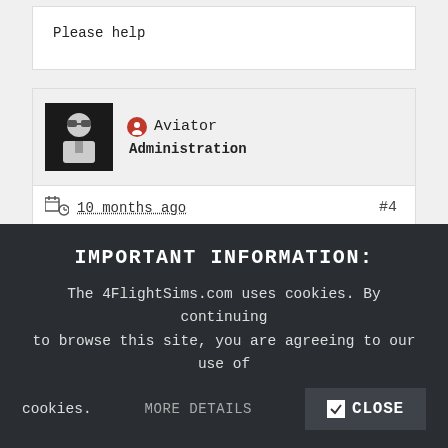Please help
Aviator
Administration
10 months ago  #4
Hello,

If you tried in an iPad an it works well you have the answer yourself. Your tablet could be 2021 but clearly not powerful enough to run Skyelite
IMPORTANT INFORMATION:
The 4FlightSims.com uses cookies. By continuing to browse this site, you are agreeing to our use of cookies.
MORE DETAILS   ✔ CLOSE